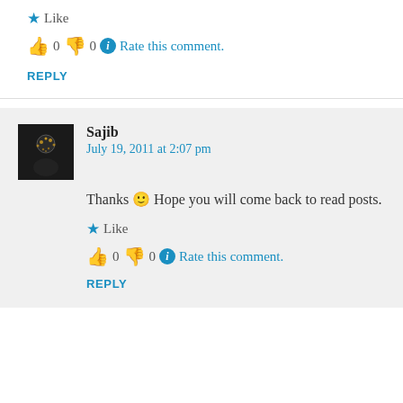★ Like
👍 0 👎 0 ℹ Rate this comment.
REPLY
Sajib
July 19, 2011 at 2:07 pm
Thanks 🙂 Hope you will come back to read posts.
★ Like
👍 0 👎 0 ℹ Rate this comment.
REPLY